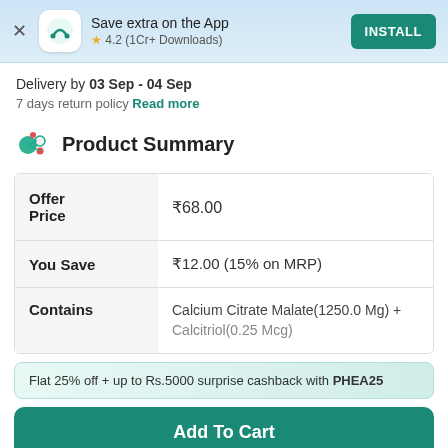Save extra on the App
★ 4.2 (1Cr+ Downloads)
INSTALL
Delivery by 03 Sep - 04 Sep
7 days return policy Read more
Product Summary
|  |  |
| --- | --- |
| Offer Price | ₹68.00 |
| You Save | ₹12.00 (15% on MRP) |
| Contains | Calcium Citrate Malate(1250.0 Mg) + Calcitriol(0.25 Mcg) |
Flat 25% off + up to Rs.5000 surprise cashback with PHEA25
Add To Cart